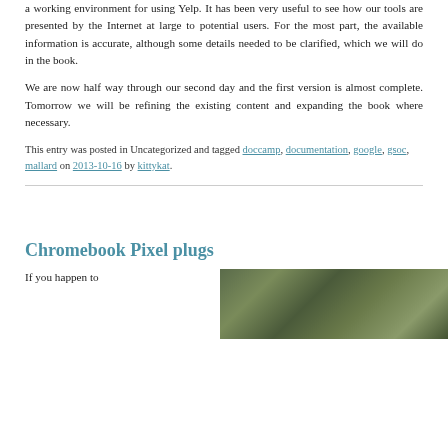a working environment for using Yelp. It has been very useful to see how our tools are presented by the Internet at large to potential users. For the most part, the available information is accurate, although some details needed to be clarified, which we will do in the book.
We are now half way through our second day and the first version is almost complete. Tomorrow we will be refining the existing content and expanding the book where necessary.
This entry was posted in Uncategorized and tagged doccamp, documentation, google, gsoc, mallard on 2013-10-16 by kittykat.
Chromebook Pixel plugs
If you happen to
[Figure (photo): A dark green outdoor/nature photograph, partially visible]